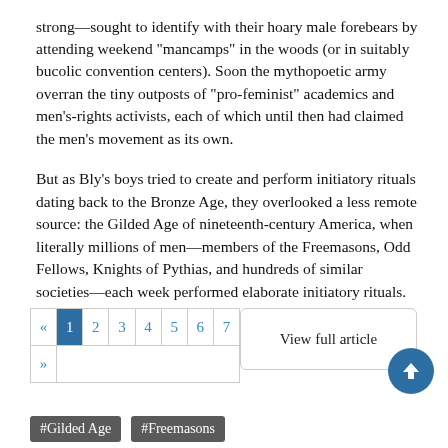strong—sought to identify with their hoary male forebears by attending weekend "mancamps" in the woods (or in suitably bucolic convention centers). Soon the mythopoetic army overran the tiny outposts of "pro-feminist" academics and men's-rights activists, each of which until then had claimed the men's movement as its own.
But as Bly's boys tried to create and perform initiatory rituals dating back to the Bronze Age, they overlooked a less remote source: the Gilded Age of nineteenth-century America, when literally millions of men—members of the Freemasons, Odd Fellows, Knights of Pythias, and hundreds of similar societies—each week performed elaborate initiatory rituals.
Pagination: « 1 2 3 4 5 6 7 »
View full article
#Gilded Age   #Freemasons